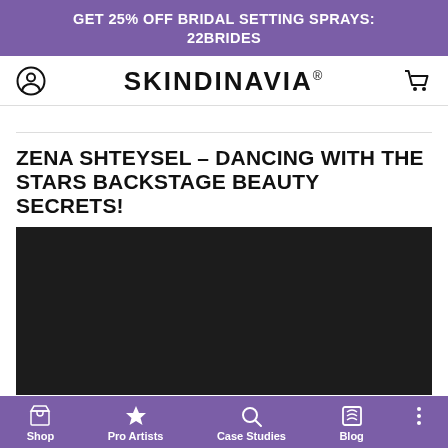GET 25% OFF BRIDAL SETTING SPRAYS: 22BRIDES
SKINDINAVIA®
ZENA SHTEYSEL – DANCING WITH THE STARS BACKSTAGE BEAUTY SECRETS!
[Figure (photo): Dark/black background image placeholder for article about Dancing with the Stars backstage beauty]
Shop  Pro Artists  Case Studies  Blog